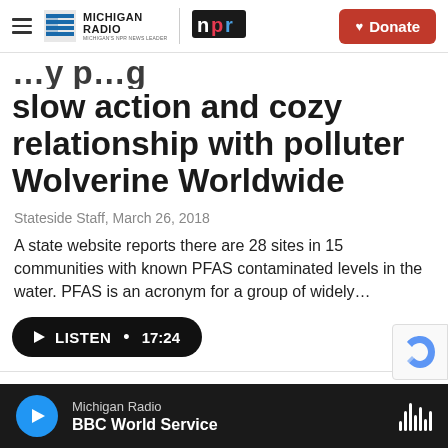Michigan Radio | NPR | Donate
slow action and cozy relationship with polluter Wolverine Worldwide
Stateside Staff, March 26, 2018
A state website reports there are 28 sites in 15 communities with known PFAS contaminated levels in the water. PFAS is an acronym for a group of widely…
Michigan Radio | BBC World Service